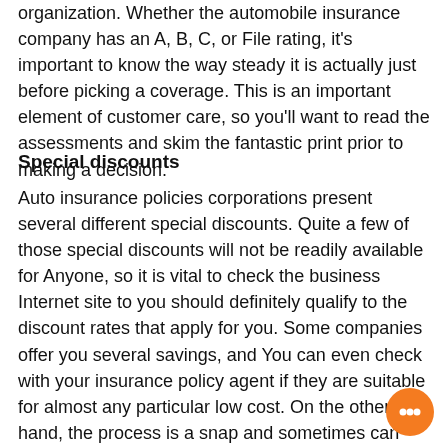organization. Whether the automobile insurance company has an A, B, C, or File rating, it's important to know the way steady it is actually just before picking a coverage. This is an important element of customer care, so you'll want to read the assessments and skim the fantastic print prior to making a decision.
Special discounts
Auto insurance policies corporations present several different special discounts. Quite a few of those special discounts will not be readily available for Anyone, so it is vital to check the business Internet site to you should definitely qualify to the discount rates that apply for you. Some companies offer you several savings, and You can even check with your insurance policy agent if they are suitable for almost any particular low cost. On the other hand, the process is a snap and sometimes can take lower than an hour or so. Below are some samples of probable automobile insurance policies bargains.